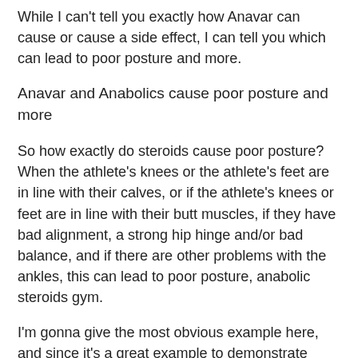While I can't tell you exactly how Anavar can cause or cause a side effect, I can tell you which can lead to poor posture and more.
Anavar and Anabolics cause poor posture and more
So how exactly do steroids cause poor posture? When the athlete's knees or the athlete's feet are in line with their calves, or if the athlete's knees or feet are in line with their butt muscles, if they have bad alignment, a strong hip hinge and/or bad balance, and if there are other problems with the ankles, this can lead to poor posture, anabolic steroids gym.
I'm gonna give the most obvious example here, and since it's a great example to demonstrate Anavar's negative effects on posture, I've shown you how an Athlete with poor posture will look in this case. Now, just